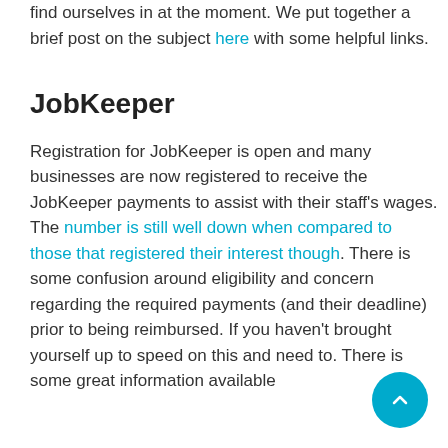find ourselves in at the moment. We put together a brief post on the subject here with some helpful links.
JobKeeper
Registration for JobKeeper is open and many businesses are now registered to receive the JobKeeper payments to assist with their staff's wages. The number is still well down when compared to those that registered their interest though. There is some confusion around eligibility and concern regarding the required payments (and their deadline) prior to being reimbursed. If you haven't brought yourself up to speed on this and need to. There is some great information available